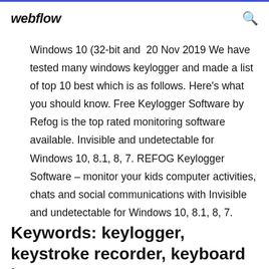webflow
Windows 10 (32-bit and  20 Nov 2019 We have tested many windows keylogger and made a list of top 10 best which is as follows. Here's what you should know. Free Keylogger Software by Refog is the top rated monitoring software available. Invisible and undetectable for Windows 10, 8.1, 8, 7. REFOG Keylogger Software – monitor your kids computer activities, chats and social communications with Invisible and undetectable for Windows 10, 8.1, 8, 7.
Keywords: keylogger, keystroke recorder, keyboard logger. OS: